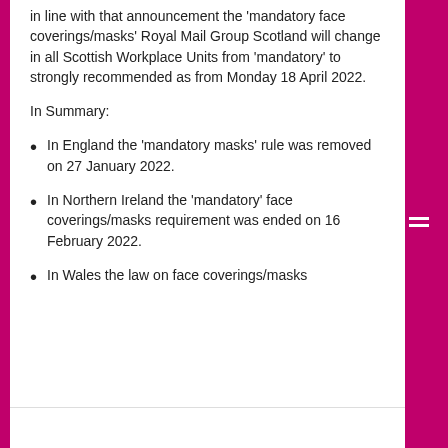in line with that announcement the 'mandatory face coverings/masks' Royal Mail Group Scotland will change in all Scottish Workplace Units from 'mandatory' to strongly recommended as from Monday 18 April 2022.
In Summary:
In England the 'mandatory masks' rule was removed on 27 January 2022.
In Northern Ireland the 'mandatory' face coverings/masks requirement was ended on 16 February 2022.
In Wales the law on face coverings/masks...
Privacy & Cookies: This site uses cookies. By continuing to use this website, you agree to their use.
To find out more, including how to control cookies, see here: Cookie Policy